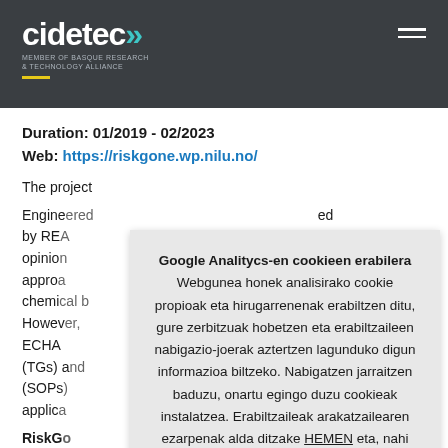cidetec — MEMBER OF BASQUE RESEARCH & TECHNOLOGY ALLIANCE
Duration: 01/2019 - 02/2023
Web: https://riskgone.wp.nilu.no/
The project...
Engineered... by REA... opinion... approach... chemi... However... ECHA... (TGs) a... (SOPs... applic...
RiskG...
Google Analitycs-en cookieen erabilera Webgunea honek analisirako cookie propioak eta hirugarrenenak erabiltzen ditu, gure zerbitzuak hobetzen eta erabiltzaileen nabigazio-joerak aztertzen lagunduko digun informazioa biltzeko. Nabigatzen jarraitzen baduzu, onartu egingo duzu cookieak instalatzea. Erabiltzaileak arakatzailearen ezarpenak alda ditzake HEMEN eta, nahi izanez gero, cookieak disko